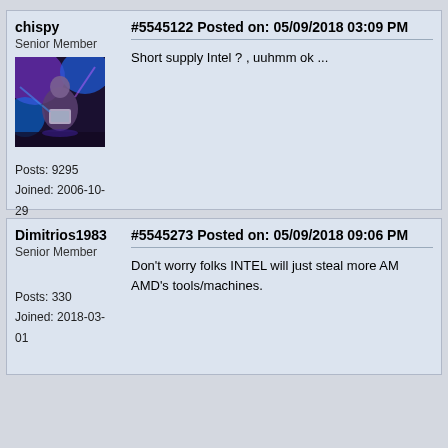chispy
Senior Member
Posts: 9295
Joined: 2006-10-29
#5545122 Posted on: 05/09/2018 03:09 PM
Short supply Intel ? , uuhmm ok ...
Dimitrios1983
Senior Member
Posts: 330
Joined: 2018-03-01
#5545273 Posted on: 05/09/2018 09:06 PM
Don't worry folks INTEL will just steal more AMD's tools/machines.